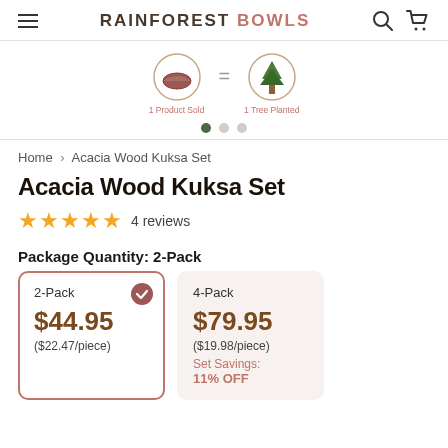RAINFOREST BOWLS
[Figure (illustration): Banner showing 1 Product Sold = 1 Tree Planted icons with navigation dots]
Home > Acacia Wood Kuksa Set
Acacia Wood Kuksa Set
★★★★★ 4 reviews
Package Quantity: 2-Pack
| 2-Pack (selected) | $44.95 | ($22.47/piece) |
| 4-Pack | $79.95 | ($19.98/piece) Set Savings: 11% OFF |